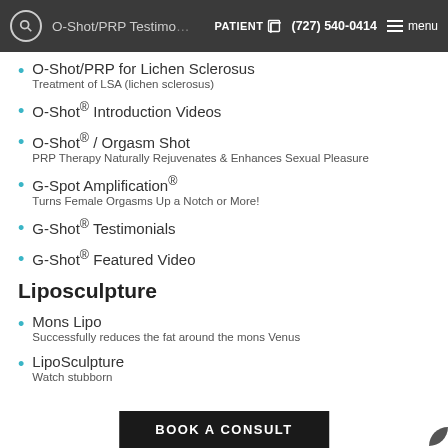O-Shot/PRP Testimonials  PATIENT  (727) 540-0414  menu
O-Shot/PRP for Lichen Sclerosus
Treatment of LSA (lichen sclerosus)
O-Shot® Introduction Videos
O-Shot® / Orgasm Shot
PRP Therapy Naturally Rejuvenates & Enhances Sexual Pleasure
G-Spot Amplification®
Turns Female Orgasms Up a Notch or More!
G-Shot® Testimonials
G-Shot® Featured Video
Liposculpture
Mons Lipo
Successfully reduces the fat around the mons Venus
LipoSculpture
Watch stubborn … ppear before your